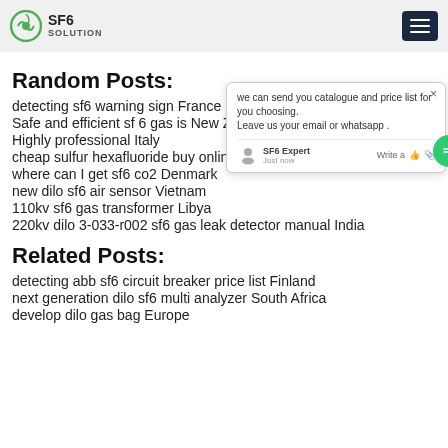SF6 SOLUTION
Random Posts:
detecting sf6 warning sign France
Safe and efficient sf 6 gas is New Zealand
Highly professional Italy
cheap sulfur hexafluoride buy online Africa
where can I get sf6 co2 Denmark
new dilo sf6 air sensor Vietnam
110kv sf6 gas transformer Libya
220kv dilo 3-033-r002 sf6 gas leak detector manual India
Related Posts:
detecting abb sf6 circuit breaker price list Finland
next generation dilo sf6 multi analyzer South Africa
develop dilo gas bag Europe